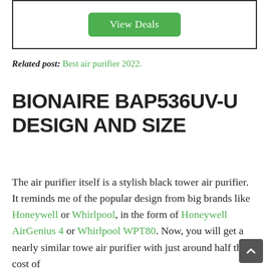[Figure (other): A bordered box with a green 'View Deals' button centered inside]
Related post: Best air purifier 2022.
BIONAIRE BAP536UV-U DESIGN AND SIZE
The air purifier itself is a stylish black tower air purifier. It reminds me of the popular design from big brands like Honeywell or Whirlpool, in the form of Honeywell AirGenius 4 or Whirlpool WPT80. Now, you will get a nearly similar tower air purifier with just around half the cost of